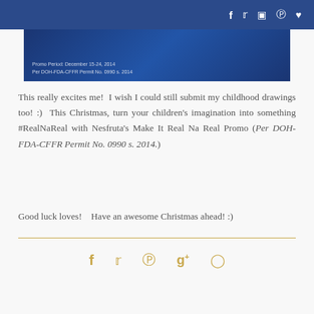Social media icons: f t camera pinterest heart
[Figure (screenshot): Banner image with dark blue background showing promo text: Promo Period: December 15-24, 2014 / Per DOH-FDA-CFFR Permit No. 0990 s. 2014]
This really excites me! I wish I could still submit my childhood drawings too! :) This Christmas, turn your children's imagination into something #RealNaReal with Nesfruta's Make It Real Na Real Promo (Per DOH-FDA-CFFR Permit No. 0990 s. 2014.)
Good luck loves! Have an awesome Christmas ahead! :)
[Figure (infographic): Social sharing icons: facebook, twitter, pinterest, google+, comment bubble — in gold/tan color]